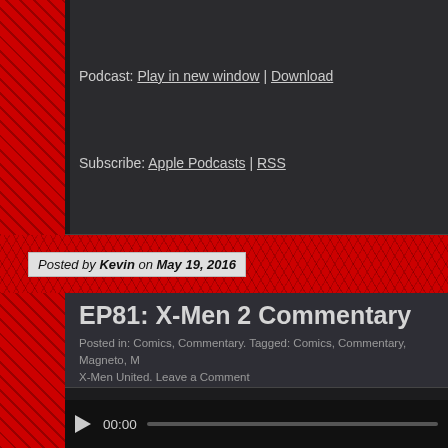Podcast: Play in new window | Download
Subscribe: Apple Podcasts | RSS
Posted by Kevin on May 19, 2016
EP81: X-Men 2 Commentary
Posted in: Comics, Commentary. Tagged: Comics, Commentary, Magneto, M X-Men United. Leave a Comment
In order to get you hyped for X-Men Apocalypse next week, Mike a follow along commentary to the best X-Men movie of all-time X2. D watch along with us. Note: we recorded this a few moths ago so s
[Figure (other): Audio player with play button, 00:00 timestamp, and progress bar]
Podcast: Play in new window | Download